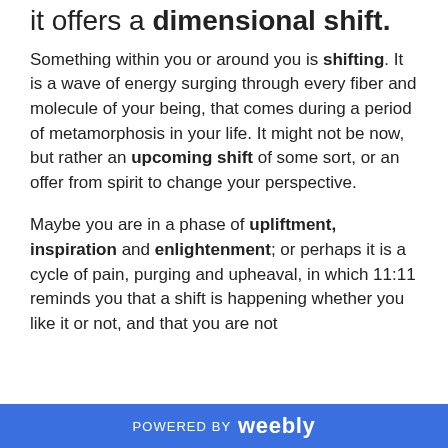it offers a dimensional shift.
Something within you or around you is shifting. It is a wave of energy surging through every fiber and molecule of your being, that comes during a period of metamorphosis in your life. It might not be now, but rather an upcoming shift of some sort, or an offer from spirit to change your perspective.
Maybe you are in a phase of upliftment, inspiration and enlightenment; or perhaps it is a cycle of pain, purging and upheaval, in which 11:11 reminds you that a shift is happening whether you like it or not, and that you are not
POWERED BY Weebly